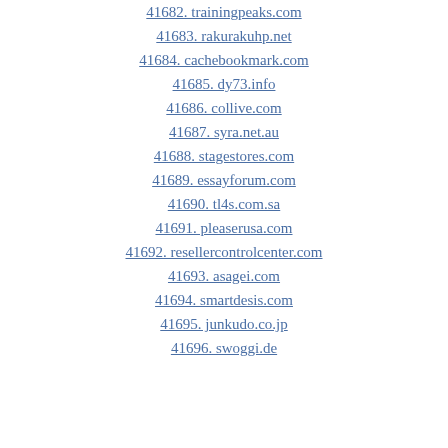41682. trainingpeaks.com
41683. rakurakuhp.net
41684. cachebookmark.com
41685. dy73.info
41686. collive.com
41687. syra.net.au
41688. stagestores.com
41689. essayforum.com
41690. tl4s.com.sa
41691. pleaserusa.com
41692. resellercontrolcenter.com
41693. asagei.com
41694. smartdesis.com
41695. junkudo.co.jp
41696. swoggi.de